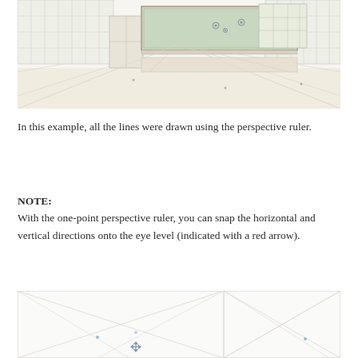[Figure (illustration): A perspective drawing of a Japanese classroom interior. The scene shows a room drawn in one-point perspective with a chalkboard at the back wall, large windows on both sides with grid-pane sliding panels, a teacher's podium/desk, and perspective guide lines emanating from a central vanishing point. The drawing has a light, sketchy aesthetic with soft colors.]
In this example, all the lines were drawn using the perspective ruler.
NOTE:
With the one-point perspective ruler, you can snap the horizontal and vertical directions onto the eye level (indicated with a red arrow).
[Figure (illustration): A split illustration showing two perspective ruler canvas views side by side. Both panels show a white canvas with light diagonal guide lines extending from corners to a central vanishing point area. The left panel is larger and shows a small crosshair/move tool icon near the center bottom. The right panel is narrower. Both panels are enclosed in a light gray border.]